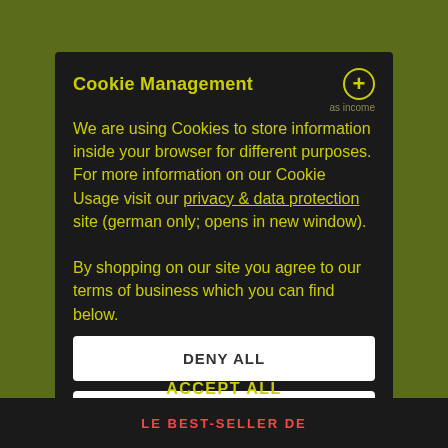Cookie Management
We are using Cookies to store information inside your browser for different purposes. For more information on our Cookie Usage visit our privacy & data protection site (german only; opens in new window).

By shopping on our site you agree to our terms of business which you can find below.
DENY ALL
ACCEPT CURRENT SELECTION
ACCEPT ALL
LE BEST-SELLER DE